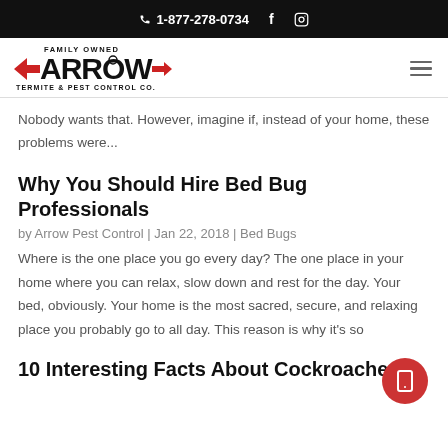📞 1-877-278-0734  f  🔲
[Figure (logo): Arrow Termite & Pest Control Co. logo with red arrow design and 'Family Owned' text]
Nobody wants that. However, imagine if, instead of your home, these problems were...
Why You Should Hire Bed Bug Professionals
by Arrow Pest Control | Jan 22, 2018 | Bed Bugs
Where is the one place you go every day? The one place in your home where you can relax, slow down and rest for the day. Your bed, obviously. Your home is the most sacred, secure, and relaxing place you probably go to all day. This reason is why it's so
10 Interesting Facts About Cockroaches